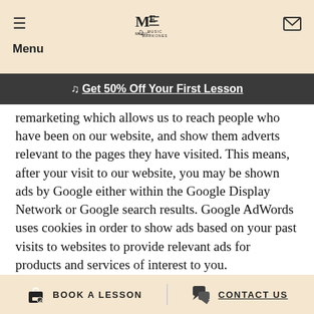Menu | Music Markones | [envelope icon]
♩ Get 50% Off Your First Lesson
remarketing which allows us to reach people who have been on our website, and show them adverts relevant to the pages they have visited. This means, after your visit to our website, you may be shown ads by Google either within the Google Display Network or Google search results. Google AdWords uses cookies in order to show ads based on your past visits to websites to provide relevant ads for products and services of interest to you.
You can adjust your settings and also opt out of Google's use of AdWords cookies by visiting Google's
BOOK A LESSON   CONTACT US